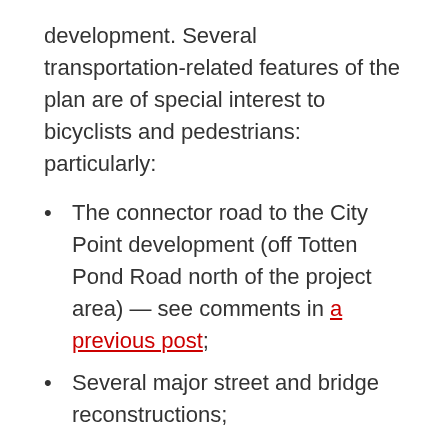development. Several transportation-related features of the plan are of special interest to bicyclists and pedestrians: particularly:
The connector road to the City Point development (off Totten Pond Road north of the project area) — see comments in a previous post;
Several major street and bridge reconstructions;
Connections of the Mass Central Rail Trail;
Bicycle parking and shower facilities
The effect of development on traffic on local streets.